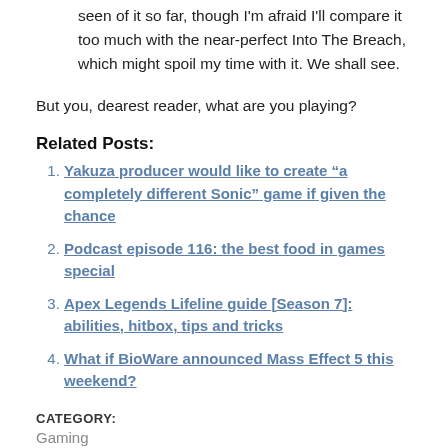seen of it so far, though I'm afraid I'll compare it too much with the near-perfect Into The Breach, which might spoil my time with it. We shall see.
But you, dearest reader, what are you playing?
Related Posts:
Yakuza producer would like to create “a completely different Sonic” game if given the chance
Podcast episode 116: the best food in games special
Apex Legends Lifeline guide [Season 7]: abilities, hitbox, tips and tricks
What if BioWare announced Mass Effect 5 this weekend?
CATEGORY:
Gaming
TAG: